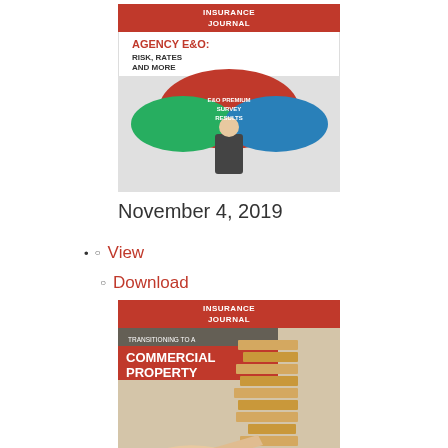[Figure (illustration): Insurance Journal magazine cover dated November 4, 2019, showing Agency E&O: Risk, Rates and More with umbrella illustration]
November 4, 2019
View
Download
[Figure (illustration): Insurance Journal magazine cover dated October 21, 2019, showing Commercial Property with Jenga blocks illustration]
October 21, 2019
View
Download
[Figure (illustration): Insurance Journal magazine cover partially visible at bottom]